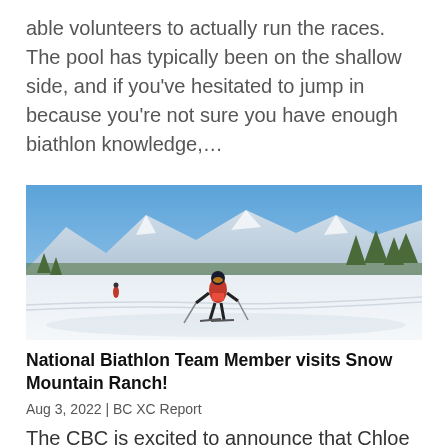able volunteers to actually run the races. The pool has typically been on the shallow side, and if you've hesitated to jump in because you're not sure you have enough biathlon knowledge,...
[Figure (photo): A cross-country skier in a red/pink racing bib skiing on a groomed trail through a snowy landscape with mountains and pine trees in the background under a blue sky.]
National Biathlon Team Member visits Snow Mountain Ranch!
Aug 3, 2022 | BC XC Report
The CBC is excited to announce that Chloe